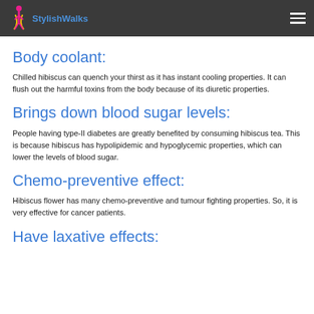StylishWalks
Body coolant:
Chilled hibiscus can quench your thirst as it has instant cooling properties. It can flush out the harmful toxins from the body because of its diuretic properties.
Brings down blood sugar levels:
People having type-II diabetes are greatly benefited by consuming hibiscus tea. This is because hibiscus has hypolipidemic and hypoglycemic properties, which can lower the levels of blood sugar.
Chemo-preventive effect:
Hibiscus flower has many chemo-preventive and tumour fighting properties. So, it is very effective for cancer patients.
Have laxative effects: